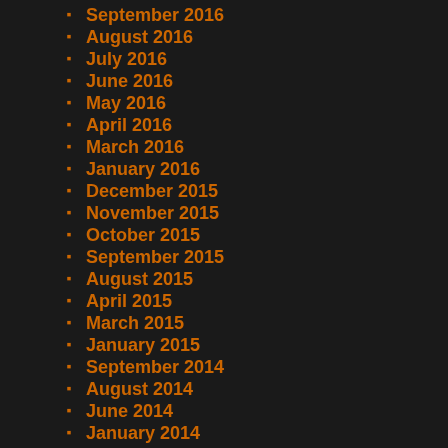September 2016
August 2016
July 2016
June 2016
May 2016
April 2016
March 2016
January 2016
December 2015
November 2015
October 2015
September 2015
August 2015
April 2015
March 2015
January 2015
September 2014
August 2014
June 2014
January 2014
November 2013
October 2013